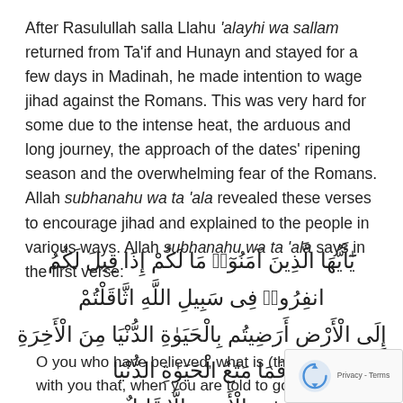After Rasulullah salla Llahu 'alayhi wa sallam returned from Ta'if and Hunayn and stayed for a few days in Madinah, he made intention to wage jihad against the Romans. This was very hard for some due to the intense heat, the arduous and long journey, the approach of the dates' ripening season and the overwhelming fear of the Romans. Allah subhanahu wa ta 'ala revealed these verses to encourage jihad and explained to the people in various ways. Allah subhanahu wa ta 'ala says in the first verse:
[Figure (other): Arabic Quranic verse text displayed in large Arabic script, right-to-left, centered on the page]
O you who have believed, what is (the matter) with you that, when you are told to go forth in the cause of Allah you adhere heavily to the earth? Are you satisfied with the life of this world rather than the hereafter? But